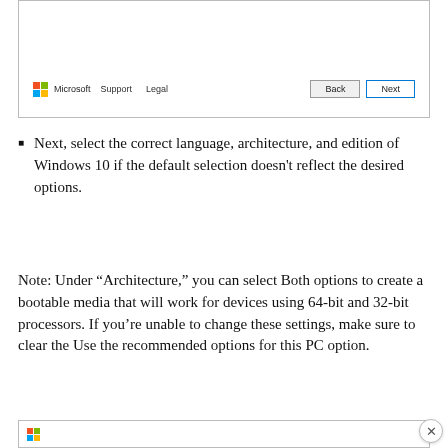[Figure (screenshot): Windows 10 Media Creation Tool dialog footer showing Microsoft logo, Support and Legal links, and Back/Next buttons]
Next, select the correct language, architecture, and edition of Windows 10 if the default selection doesn't reflect the desired options.
Note: Under “Architecture,” you can select Both options to create a bootable media that will work for devices using 64-bit and 32-bit processors. If you’re unable to change these settings, make sure to clear the Use the recommended options for this PC option.
[Figure (screenshot): Bottom portion of Windows 10 setup dialog, partially visible]